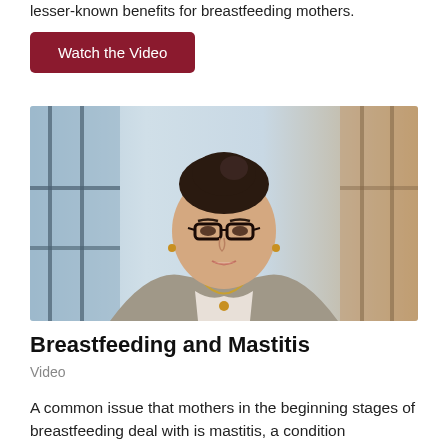lesser-known benefits for breastfeeding mothers.
[Figure (other): A button labelled 'Watch the Video' with a dark red/maroon background and white text]
[Figure (photo): A woman with dark hair in a bun, wearing glasses, a grey blazer, and a gold necklace, speaking in front of a blurred city window background.]
Breastfeeding and Mastitis
Video
A common issue that mothers in the beginning stages of breastfeeding deal with is mastitis, a condition